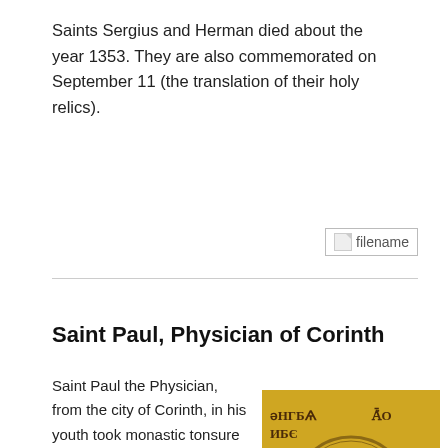Saints Sergius and Herman died about the year 1353. They are also commemorated on September 11 (the translation of their holy relics).
[Figure (other): Broken image placeholder labeled 'filename']
Saint Paul, Physician of Corinth
Saint Paul the Physician, from the city of Corinth, in his youth took monastic tonsure at one of the monasteries. Here the saint toiled much and became an experienced ascetic.
[Figure (illustration): Byzantine icon depicting a saint with a halo, gold background with Slavonic/Greek inscriptions]